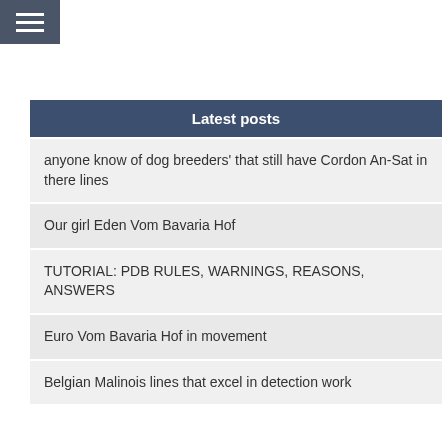≡
Latest posts
anyone know of dog breeders' that still have Cordon An-Sat in there lines
Our girl Eden Vom Bavaria Hof
TUTORIAL: PDB RULES, WARNINGS, REASONS, ANSWERS
Euro Vom Bavaria Hof in movement
Belgian Malinois lines that excel in detection work